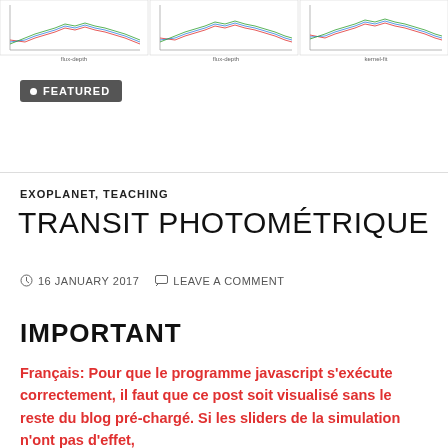[Figure (continuous-plot): Three small scientific plots/charts showing spectral or flux data with colored lines, appearing at the top of the page as a strip.]
• FEATURED
EXOPLANET, TEACHING
TRANSIT PHOTOMÉTRIQUE
16 JANUARY 2017   LEAVE A COMMENT
IMPORTANT
Français: Pour que le programme javascript s'exécute correctement, il faut que ce post soit visualisé sans le reste du blog pré-chargé. Si les sliders de la simulation n'ont pas d'effet, recharger la page en cliquant sur le titre ou en appuyant sur